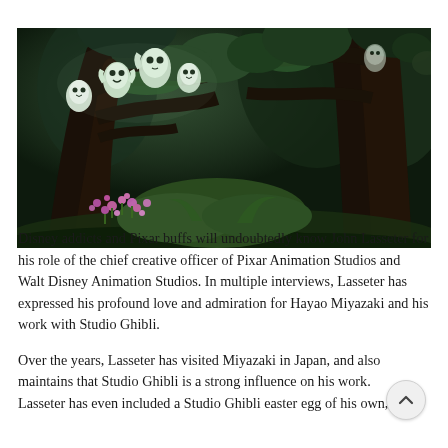[Figure (illustration): A dark, lush animated forest scene from Studio Ghibli (Princess Mononoke style) featuring glowing white kodama (tree spirits) perched on mossy tree branches. Purple flowers bloom in the lower left, and large ancient trees fill the scene with deep greens and dark shadows.]
Disney addicts and Pixar buffs will undoubtedly know John Lasseter for his role of the chief creative officer of Pixar Animation Studios and Walt Disney Animation Studios. In multiple interviews, Lasseter has expressed his profound love and admiration for Hayao Miyazaki and his work with Studio Ghibli.
Over the years, Lasseter has visited Miyazaki in Japan, and also maintains that Studio Ghibli is a strong influence on his work. Lasseter has even included a Studio Ghibli easter egg of his own,